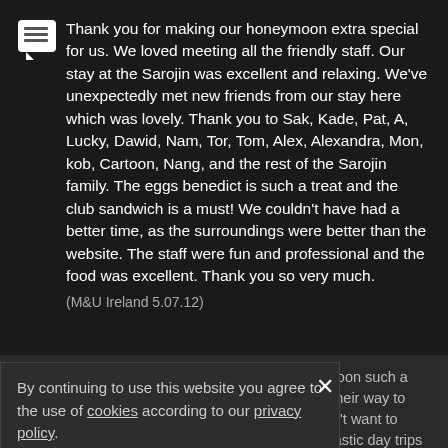Thank you for making our honeymoon extra special for us. We loved meeting all the friendly staff. Our stay at the Sarojin was excellent and relaxing. We've unexpectedly met new friends from our stay here which was lovely. Thank you to Sak, Kade, Pat, A, Lucky, Dawid, Nam, Tor, Tom, Alex, Alexandra, Mon, kob, Cartoon, Nang, and the rest of the Sarojin family. The eggs benedict is such a treat and the club sandwich is a must! We couldn't have had a better time, as the surroundings were better than the website. The staff were fun and professional and the food was excellent. Thank you so very much. (M&U Ireland 5.07.12)
Thank you so much for making our honeymoon such a magical experience. Everyone went out of their way to make this feel like home. Now we really don't want to leave! Many thanks to Nam for the two fantastic day trips and to Dang for sharing her culture with us! Finally, thanks to Pom and her magical team at Pathways Spa. Thanks to you we are leaving very relaxed. We
By continuing to use this website you agree to the use of cookies according to our privacy policy.